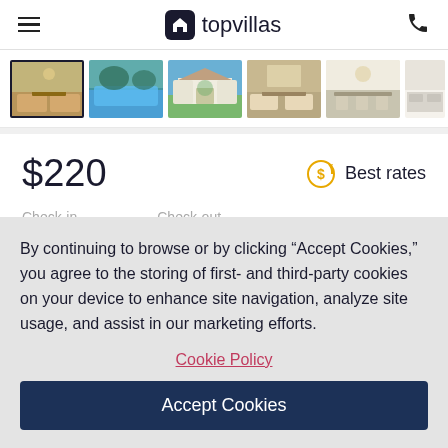topvillas
[Figure (photo): Row of 6 thumbnail photos of a vacation villa: living room, pool, exterior, living room view, dining area, kitchen]
$220
Best rates
Check-in   Check-out
By continuing to browse or by clicking “Accept Cookies,” you agree to the storing of first- and third-party cookies on your device to enhance site navigation, analyze site usage, and assist in our marketing efforts.
Cookie Policy
Accept Cookies